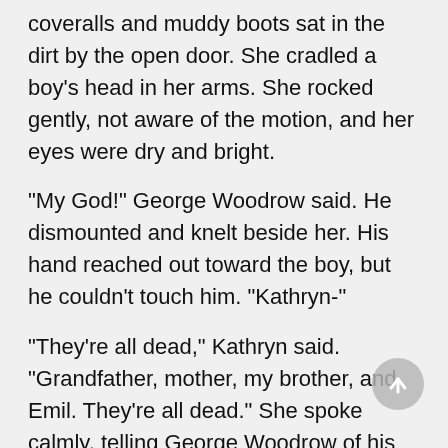coveralls and muddy boots sat in the dirt by the open door. She cradled a boy's head in her arms. She rocked gently, not aware of the motion, and her eyes were dry and bright.
"My God!" George Woodrow said. He dismounted and knelt beside her. His hand reached out toward the boy, but he couldn't touch him. "Kathryn-"
"They're all dead," Kathryn said. "Grandfather, mother, my brother, and Emil. They're all dead." She spoke calmly, telling George Woodrow of his son's death as she might tell him that there would be a dance at the church next Saturday.
George looked at his dead son and the girl who would have borne his grandchildren